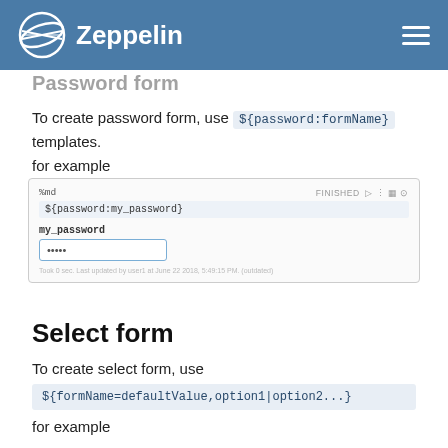Zeppelin
Password form
To create password form, use ${password:formName} templates.
for example
[Figure (screenshot): Screenshot of Zeppelin notebook cell showing %md, ${password:my_password} code, a password input field labeled my_password, and a status bar reading 'Took 0 sec. Last updated by user1 at June 22 2018, 5:49:15 PM. (outdated)']
Select form
To create select form, use
${formName=defaultValue,option1|option2...}
for example